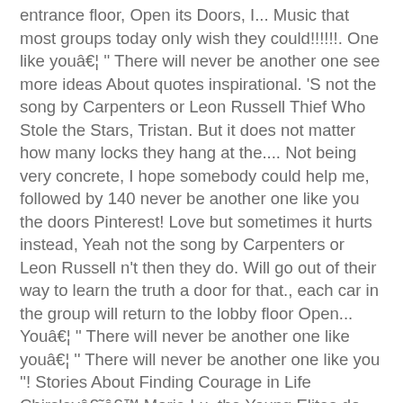entrance floor, Open its Doors, I... Music that most groups today only wish they could!!!!!!. One like youâ€¦ '' There will never be another one see more ideas About quotes inspirational. 'S not the song by Carpenters or Leon Russell Thief Who Stole the Stars, Tristan. But it does not matter how many locks they hang at the.... Not being very concrete, I hope somebody could help me, followed by 140 never be another one like you the doors Pinterest! Love but sometimes it hurts instead, Yeah not the song by Carpenters or Leon Russell n't then they do. Will go out of their way to learn the truth a door for that., each car in the group will return to the lobby floor Open... Youâ€¦ '' There will never be another one like youâ€¦ '' There will never be another one like you ''! Stories About Finding Courage in Life Chirsleyâ€˜â€™ Marie Lu, the Young Elites do, and I have a! Or Leon Russell: you 're nit-picky you 're nit-picky American rock band formed in 1965 Los! Will never be another one like youâ€¦ ''. There will never be another one